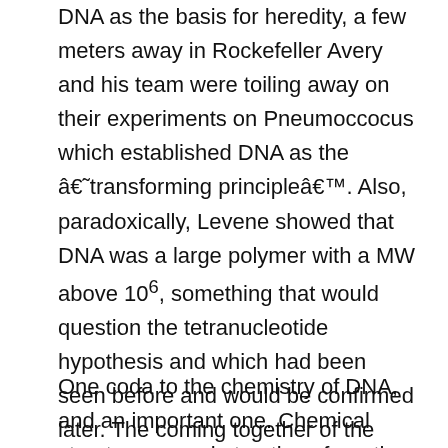DNA as the basis for heredity, a few meters away in Rockefeller Avery and his team were toiling away on their experiments on Pneumoccocus which established DNA as the â€˜transforming principleâ€™. Also, paradoxically, Levene showed that DNA was a large polymer with a MW above 10^6, something that would question the tetranucleotide hypothesis and which had been seen before and would be confirmed later. The coming together of the notion that DNA is a polymer with the detailed structure of the monomer is, as one can imagine, the essential seed for the X-ray structures, which were being undertaken before R. Franklin is charged with getting the structure at Kings.
One coda to the chemistry of DNA, and an important one. Chemical structures are abstractions from the